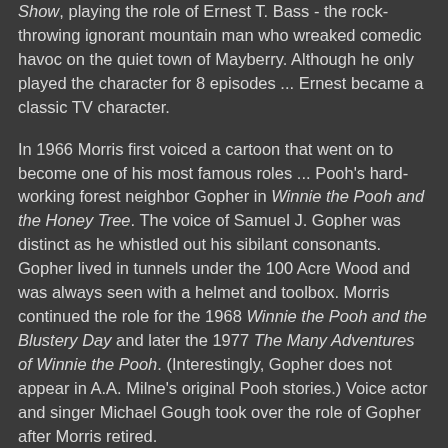Show, playing the role of Ernest T. Bass - the rock-throwing ignorant mountain man who wreaked comedic havoc on the quiet town of Mayberry. Although he only played the character for 8 episodes ... Ernest became a classic TV character.
In 1966 Morris first voiced a cartoon that went on to become one of his most famous roles ... Pooh's hard-working forest neighbor Gopher in Winnie the Pooh and the Honey Tree. The voice of Samuel J. Gopher was distinct as he whistled out his sibilant consonants. Gopher lived in tunnels under the 100 Acre Wood and was always seen with a helmet and toolbox. Morris continued the role for the 1968 Winnie the Pooh and the Blustery Day and later the 1977 The Many Adventures of Winnie the Pooh. (Interestingly, Gopher does not appear in A.A. Milne's original Pooh stories.) Voice actor and singer Michael Gough took over the role of Gopher after Morris retired.
Throughout the 1960s, Morris directed episodes of The Andy Griffith Show, The Dick Van Dyke Show, and Hogan's Heroes, and was responsible for the pilot episode of Get